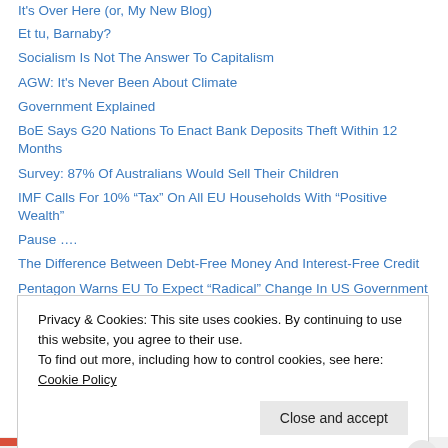It's Over Here (or, My New Blog)
Et tu, Barnaby?
Socialism Is Not The Answer To Capitalism
AGW: It's Never Been About Climate
Government Explained
BoE Says G20 Nations To Enact Bank Deposits Theft Within 12 Months
Survey: 87% Of Australians Would Sell Their Children
IMF Calls For 10% “Tax” On All EU Households With “Positive Wealth”
Pause ….
The Difference Between Debt-Free Money And Interest-Free Credit
Pentagon Warns EU To Expect “Radical” Change In US Government Soon
Sovereignty Gone: Abbott To Sign Highly Secretive TPP Agreement This Month
Privacy & Cookies: This site uses cookies. By continuing to use this website, you agree to their use.
To find out more, including how to control cookies, see here: Cookie Policy
Close and accept